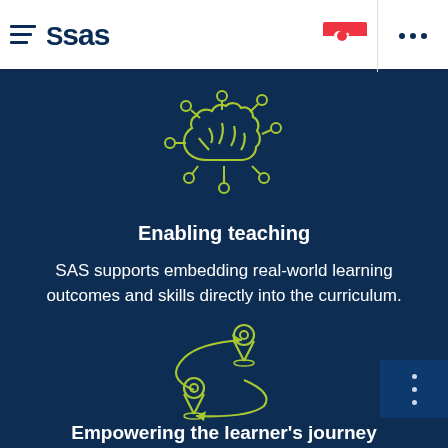SAS logo navigation header with hamburger menu, Singapore flag, and dots menu
[Figure (illustration): AI/machine learning brain icon with circuit nodes connected by lines, drawn in yellow-green outline style on dark navy background]
Enabling teaching
SAS supports embedding real-world learning outcomes and skills directly into the curriculum.
[Figure (illustration): Two location pins connected by a curved path with arrows, drawn in yellow-green outline style, representing a learner's journey]
Empowering the learner's journey